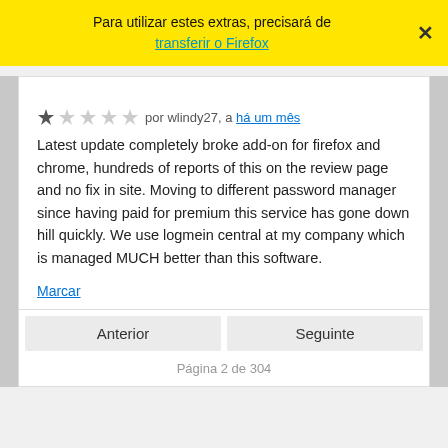Para utilizar estes extras, precisará de transferir o Firefox
por wlindy27, a há um mês
Latest update completely broke add-on for firefox and chrome, hundreds of reports of this on the review page and no fix in site. Moving to different password manager since having paid for premium this service has gone down hill quickly. We use logmein central at my company which is managed MUCH better than this software.
Marcar
Anterior
Seguinte
Página 2 de 304